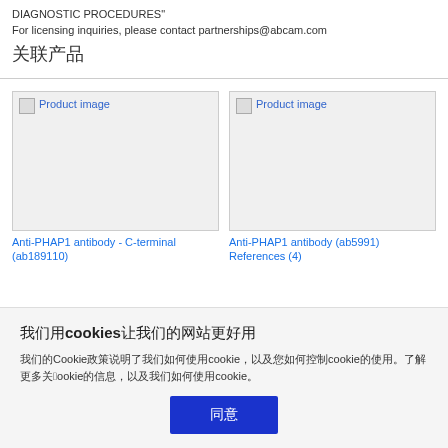DIAGNOSTIC PROCEDURES"
For licensing inquiries, please contact partnerships@abcam.com
关联产品
[Figure (photo): Product image placeholder for Anti-PHAP1 antibody - C-terminal (ab189110)]
[Figure (photo): Product image placeholder for Anti-PHAP1 antibody (ab5991)]
Anti-PHAP1 antibody - C-terminal (ab189110)
Anti-PHAP1 antibody (ab5991)
References (4)
我们用cookies让我们的网站更好用
我们的Cookie政策说明了我们如何使用cookie，以及您如何控制cookie的使用。了解更多关于cookie的信息，以及我们如何使用cookie。
同意